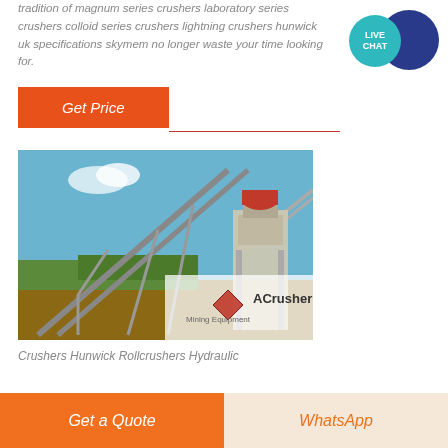tradition of magnum series crushers laboratory series crushers colloid series crushers lightning crushers hunwick uk specifications skymem no longer waste your time looking for.
Get Price
[Figure (photo): Outdoor mining/crushing facility with conveyor belts, steel frame structures, and a crusher machine. Blue sky background, green vegetation, dirt ground. ACrusher Mining Equipment logo overlay in bottom right.]
Crushers Hunwick Rollcrushers Hydraulic
Get a Quote
WhatsApp
[Figure (other): Live Chat widget: teal circle with LIVE CHAT text over dark blue speech bubble]